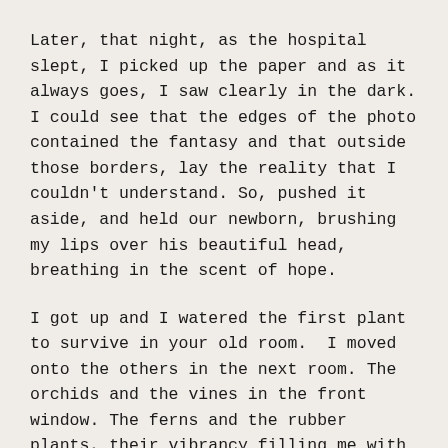Later, that night, as the hospital slept, I picked up the paper and as it always goes, I saw clearly in the dark. I could see that the edges of the photo contained the fantasy and that outside those borders, lay the reality that I couldn't understand. So, pushed it aside, and held our newborn, brushing my lips over his beautiful head, breathing in the scent of hope.
I got up and I watered the first plant to survive in your old room.  I moved onto the others in the next room. The orchids and the vines in the front window. The ferns and the rubber plants, their vibrancy filling me with their energy. Lastly, in the corner, tall and slender, her stalk too thin to keep her upright, is the first plant you ever bought me and I think the last.
I remember your small smile when I told you that her name was Stacy and feeling your eyes on me as I placed